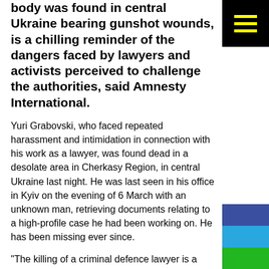body was found in central Ukraine bearing gunshot wounds, is a chilling reminder of the dangers faced by lawyers and activists perceived to challenge the authorities, said Amnesty International.
Yuri Grabovski, who faced repeated harassment and intimidation in connection with his work as a lawyer, was found dead in a desolate area in Cherkasy Region, in central Ukraine last night. He was last seen in his office in Kyiv on the evening of 6 March with an unknown man, retrieving documents relating to a high-profile case he had been working on. He has been missing ever since.
“The killing of a criminal defence lawyer is a hideous crime and Ukrainian authorities must immediately take all steps necessary to begin to rectify this ultimate abuse of human rights and justice,” said Anna Neistat, Senior Director for Research at Amnesty International.
“Yuri Grabovski’s abduction and murder should be promptly, effectively and impartially investigated, and those responsible